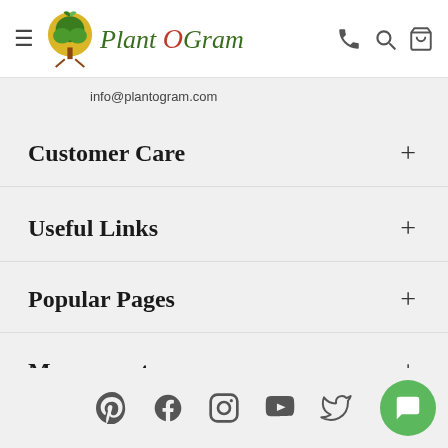Plant O Gram — header navigation with hamburger menu, logo, phone, search, cart icons
info@plantogram.com
Customer Care
Useful Links
Popular Pages
My account
[Figure (other): Social media icons row: Pinterest, Facebook, Instagram, YouTube, Twitter]